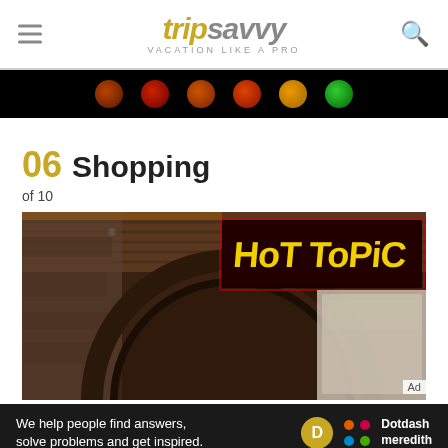tripsavvy VACATION LIKE A PRO
[Figure (other): Top advertisement banner with colorful circles on black background]
06 Shopping
of 10
[Figure (photo): Photo of Hot Topic store exterior with yellow graffiti-style sign and dark circular door frame]
[Figure (other): Dotdash Meredith advertisement banner: We help people find answers, solve problems and get inspired.]